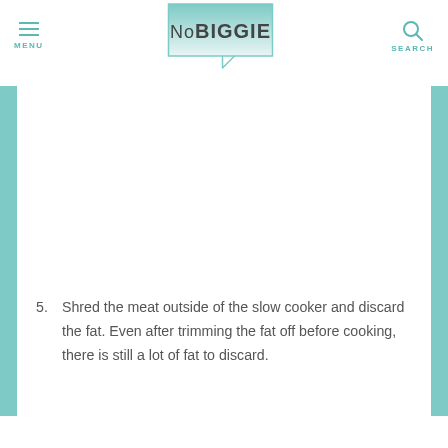MENU | NoBIGGIE | SEARCH
[Figure (logo): NoBIGGIE speech bubble logo with teal gradient fill and speech bubble tail pointing down-right]
5. Shred the meat outside of the slow cooker and discard the fat. Even after trimming the fat off before cooking, there is still a lot of fat to discard.